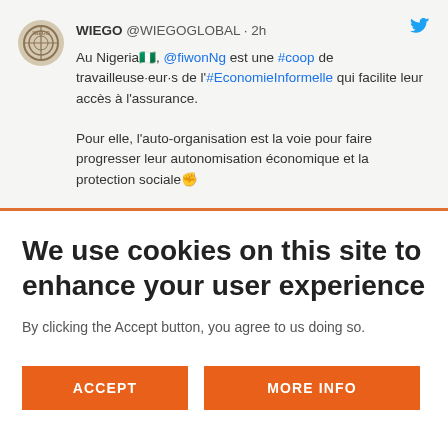[Figure (screenshot): Tweet from WIEGO @WIEGOGLOBAL posted 2 hours ago: 'Au Nigeria🇳🇬, @fiwonNg est une #coop de travailleuse·eur·s de l'#EconomieInformelle qui facilite leur accès à l'assurance. Pour elle, l'auto-organisation est la voie pour faire progresser leur autonomisation économique et la protection sociale✊']
We use cookies on this site to enhance your user experience
By clicking the Accept button, you agree to us doing so.